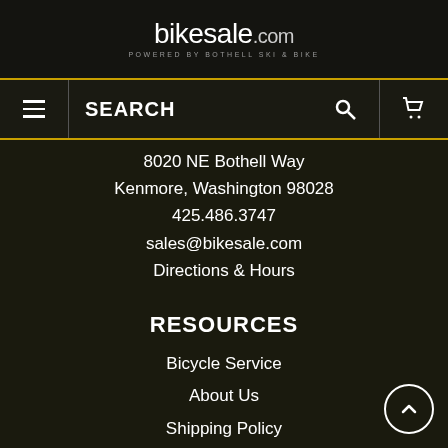bikesale.com POWERED BY BOTHELL SKI & BIKE
SEARCH
8020 NE Bothell Way
Kenmore, Washington 98028
425.486.3747
sales@bikesale.com
Directions & Hours
RESOURCES
Bicycle Service
About Us
Shipping Policy
Return Policy
Purchase Price Protection